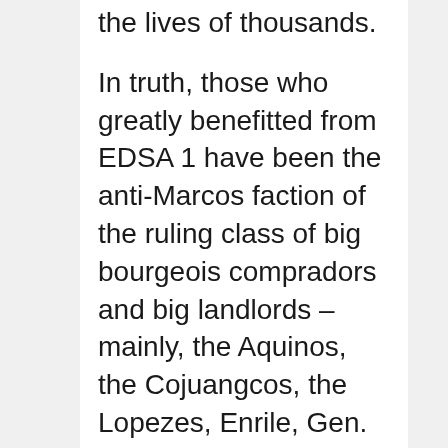the lives of thousands.

In truth, those who greatly benefitted from EDSA 1 have been the anti-Marcos faction of the ruling class of big bourgeois compradors and big landlords – mainly, the Aquinos, the Cojuangcos, the Lopezes, Enrile, Gen. Ramos and other “balimbing” generals, and former cronies such as Lucio Tan. The families of the ruling class have had taken advantage of the first EDSA uprising to